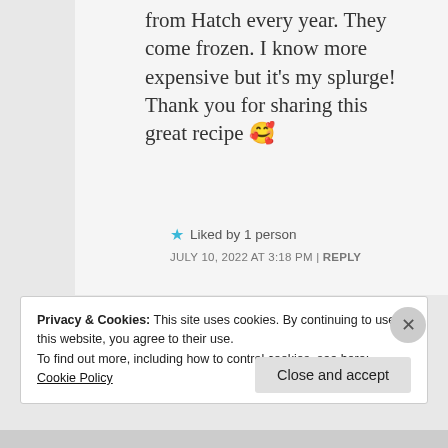from Hatch every year. They come frozen. I know more expensive but it's my splurge! Thank you for sharing this great recipe 🥰
★ Liked by 1 person
JULY 10, 2022 AT 3:18 PM | REPLY
Privacy & Cookies: This site uses cookies. By continuing to use this website, you agree to their use.
To find out more, including how to control cookies, see here:
Cookie Policy
Close and accept